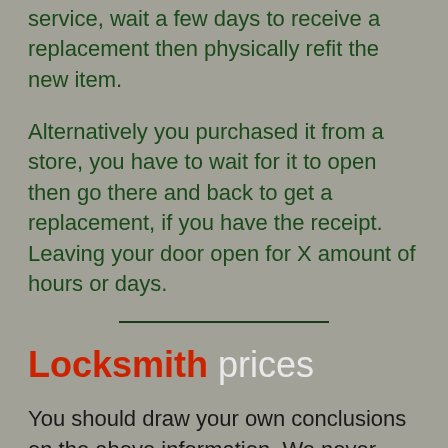service, wait a few days to receive a replacement then physically refit the new item.
Alternatively you purchased it from a store, you have to wait for it to open then go there and back to get a replacement, if you have the receipt. Leaving your door open for X amount of hours or days.
Locksmith prices
You should draw your own conclusions on the above information. We never urge anyone to buy locks from us, we carry locks